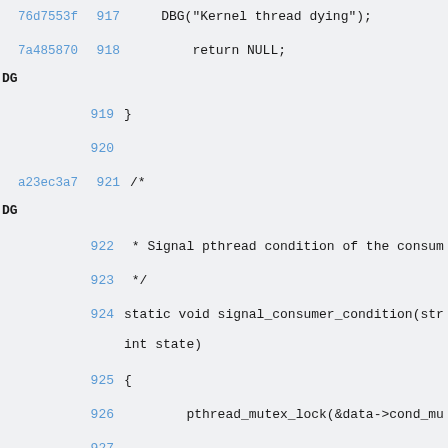76d7553f 917     DBG("Kernel thread dying");
7a485870 918         return NULL;
DG
919 }
920
a23ec3a7 921 /*
DG
922  * Signal pthread condition of the consum
923  */
924 static void signal_consumer_condition(str
    int state)
925 {
926         pthread_mutex_lock(&data->cond_mu
927
928         /*
929          * The state is set before signal
    value, it's the waiter
930          * job to correctly interpret thi
    associated to the